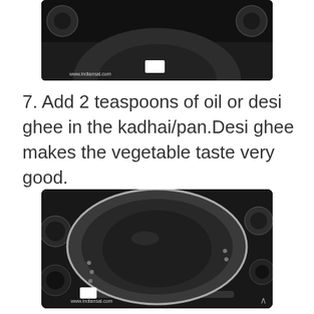[Figure (photo): Top portion of a black non-stick kadhai/wok on a gas stove, viewed from above. Website watermark visible.]
7. Add 2 teaspoons of oil or desi ghee in the kadhai/pan.Desi ghee makes the vegetable taste very good.
[Figure (photo): A black non-stick kadhai/wok placed on a gas stove burner, viewed from above. Metal knobs visible around. Small rivet dots on the sides of the pan. Website watermark and navigation arrow at bottom.]